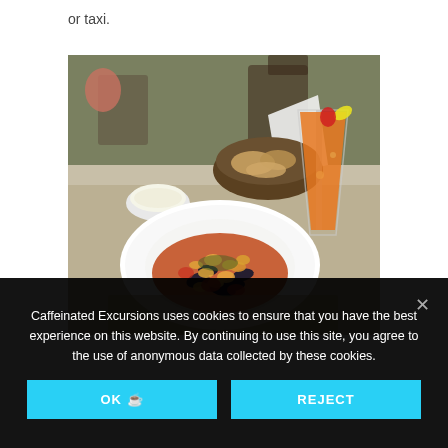or taxi.
[Figure (photo): Restaurant table with a white plate of gnocchi or seafood dish in tomato-based sauce with mussels, a basket of bread, a small bowl of grated cheese, and an orange cocktail drink in a tall glass with a lemon slice and strawberry garnish. Outdoor restaurant setting.]
Caffeinated Excursions uses cookies to ensure that you have the best experience on this website. By continuing to use this site, you agree to the use of anonymous data collected by these cookies.